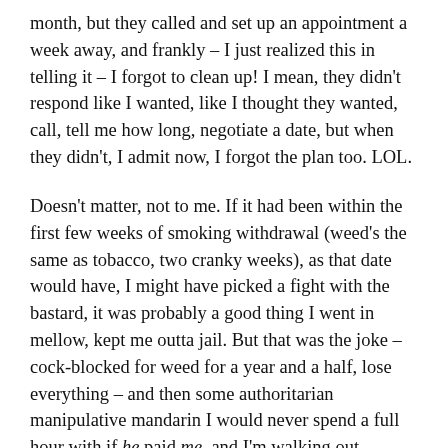month, but they called and set up an appointment a week away, and frankly – I just realized this in telling it – I forgot to clean up! I mean, they didn't respond like I wanted, like I thought they wanted, call, tell me how long, negotiate a date, but when they didn't, I admit now, I forgot the plan too. LOL.
Doesn't matter, not to me. If it had been within the first few weeks of smoking withdrawal (weed's the same as tobacco, two cranky weeks), as that date would have, I might have picked a fight with the bastard, it was probably a good thing I went in mellow, kept me outta jail. But that was the joke – cock-blocked for weed for a year and a half, lose everything – and then some authoritarian manipulative mandarin I would never spend a full hour with if he paid me, and I'm walking out